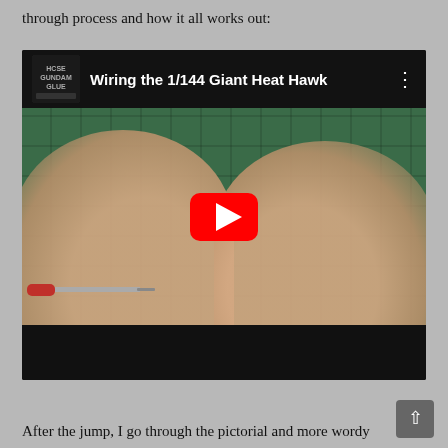through process and how it all works out:
[Figure (screenshot): YouTube video embed titled 'Wiring the 1/144 Giant Heat Hawk' from the HoseGundamGlue channel. Shows a person's hands working on a model kit on a green cutting mat with tools visible. A large red YouTube play button is centered on the video.]
After the jump, I go through the pictorial and more wordy